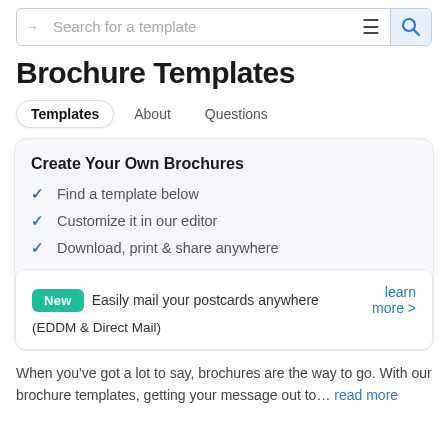→ Search for a template
Brochure Templates
Templates   About   Questions
Create Your Own Brochures
Find a template below
Customize it in our editor
Download, print & share anywhere
New   Easily mail your postcards anywhere (EDDM & Direct Mail)   learn more >
When you've got a lot to say, brochures are the way to go. With our brochure templates, getting your message out to… read more